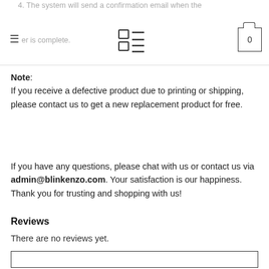4. The system will send a confirmation email when the order is complete.
Note: If you receive a defective product due to printing or shipping, please contact us to get a new replacement product for free.
If you have any questions, please chat with us or contact us via admin@blinkenzo.com. Your satisfaction is our happiness. Thank you for trusting and shopping with us!
Reviews
There are no reviews yet.